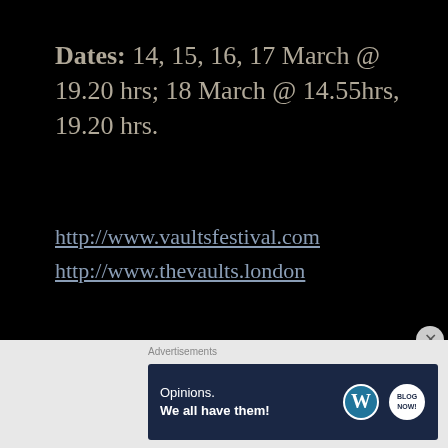Dates: 14, 15, 16, 17 March @ 19.20 hrs; 18 March @ 14.55hrs, 19.20 hrs.
http://www.vaultsfestival.com
http://www.thevaults.london
Advertisements
[Figure (other): Advertisement banner: 'Opinions. We all have them!' with WordPress and Blog Now logos on dark navy background]